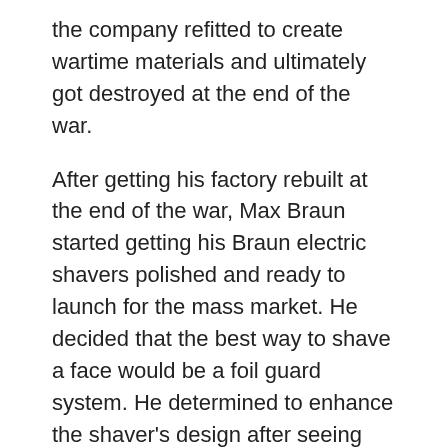the company refitted to create wartime materials and ultimately got destroyed at the end of the war.
After getting his factory rebuilt at the end of the war, Max Braun started getting his Braun electric shavers polished and ready to launch for the mass market. He decided that the best way to shave a face would be a foil guard system. He determined to enhance the shaver's design after seeing the Remington foil guard electric shaver that was not selling well.
The company designed a much thinner foil to allow a closer shave. They did not offer its first electric razor until the 1950s, and finally, the S 50 Braun foil shaver had first sent to the market in 1950, and it made a splash.